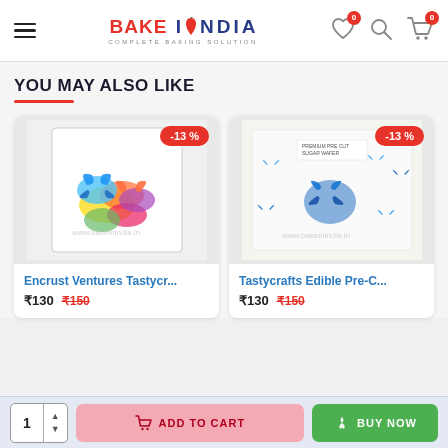Bake In India — Complete Baking Solution
YOU MAY ALSO LIKE
[Figure (photo): Product photo of colorful butterfly edible cake decorations in a clear bag, with watermark www.bakeinindia.in]
Encrust Ventures Tastycr...
₹130  ₹150
[Figure (photo): Product photo of blue butterfly edible pre-cut wafer paper cake decorations, with watermark www.bakeinindia.in]
Tastycrafts Edible Pre-C...
₹130  ₹150
1  ADD TO CART  BUY NOW